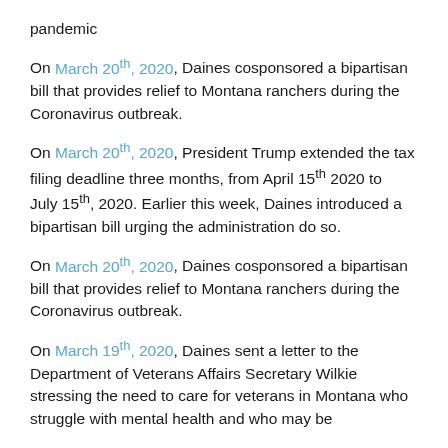pandemic
On March 20th, 2020, Daines cosponsored a bipartisan bill that provides relief to Montana ranchers during the Coronavirus outbreak.
On March 20th, 2020, President Trump extended the tax filing deadline three months, from April 15th 2020 to July 15th, 2020. Earlier this week, Daines introduced a bipartisan bill urging the administration do so.
On March 20th, 2020, Daines cosponsored a bipartisan bill that provides relief to Montana ranchers during the Coronavirus outbreak.
On March 19th, 2020, Daines sent a letter to the Department of Veterans Affairs Secretary Wilkie stressing the need to care for veterans in Montana who struggle with mental health and who may be